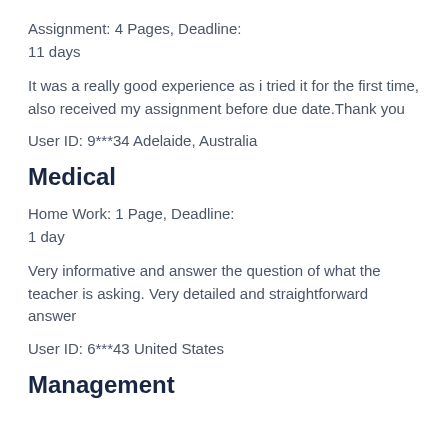Assignment: 4 Pages, Deadline:
11 days
It was a really good experience as i tried it for the first time, also received my assignment before due date.Thank you
User ID: 9***34 Adelaide, Australia
Medical
Home Work: 1 Page, Deadline:
1 day
Very informative and answer the question of what the teacher is asking. Very detailed and straightforward answer
User ID: 6***43 United States
Management